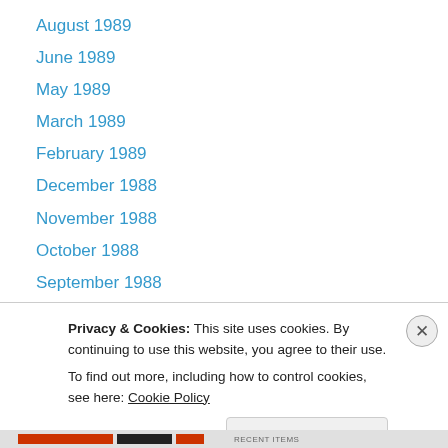August 1989
June 1989
May 1989
March 1989
February 1989
December 1988
November 1988
October 1988
September 1988
July 1988
April 1988
February 1988
December 1987
Privacy & Cookies: This site uses cookies. By continuing to use this website, you agree to their use. To find out more, including how to control cookies, see here: Cookie Policy